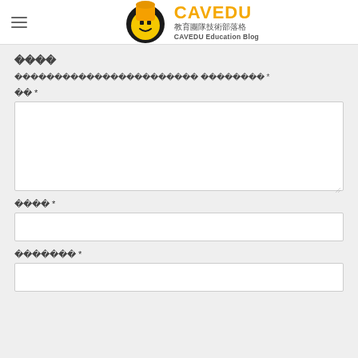CAVEDU 教育團隊技術部落格 CAVEDU Education Blog
留言
您的電子郵件地址不會被公開。 必填欄位標示為 *
留言 *
姓名 *
電子郵件 *